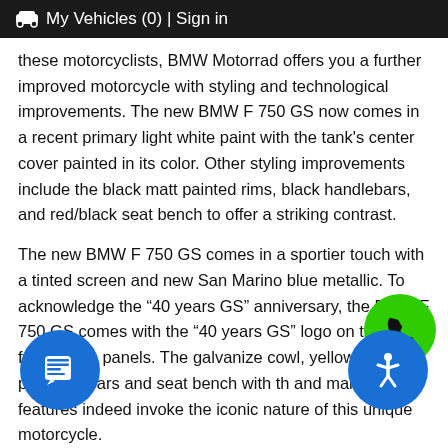🚗 My Vehicles (0) | Sign in
these motorcyclists, BMW Motorrad offers you a further improved motorcycle with styling and technological improvements. The new BMW F 750 GS now comes in a recent primary light white paint with the tank's center cover painted in its color. Other styling improvements include the black matt painted rims, black handlebars, and red/black seat bench to offer a striking contrast.
The new BMW F 750 GS comes in a sportier touch with a tinted screen and new San Marino blue metallic. To acknowledge the “40 years GS” anniversary, the BMW F 750 GS comes with the “40 years GS” logo on the fairing side panels. The galvanize cowl, yellow hand-protector bars and seat bench with th and many other features indeed invoke the iconic nature of this unique motorcycle.
The New BMW F 850 GS
The BMW F 850 GS model becomes...